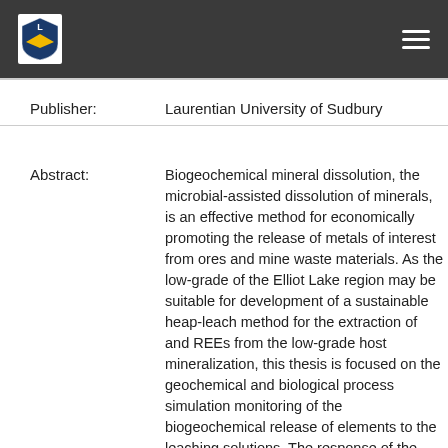Laurentian University of Sudbury — page header with logo and navigation
Publisher: Laurentian University of Sudbury
Abstract: Biogeochemical mineral dissolution, the microbial-assisted dissolution of minerals, is an effective method for economically promoting the release of metals of interest from ores and mine waste materials. As the low-grade of the Elliot Lake region may be suitable for development of a sustainable heap-leach method for the extraction of and REEs from the low-grade host mineralization, this thesis is focused on the geochemical and biological process simulation monitoring of the biogeochemical release of elements to the leaching solutions. The response of the retired heap material to a variety of passive closure strategies is also addressed. A series of biogeochemical mineral dissolution experiments have provided a detailed understanding of the biogeochemical mineral dissolution process, with the investigation of passive approaches to prepare for decommissioning to determine suitability to the ore materials from the study